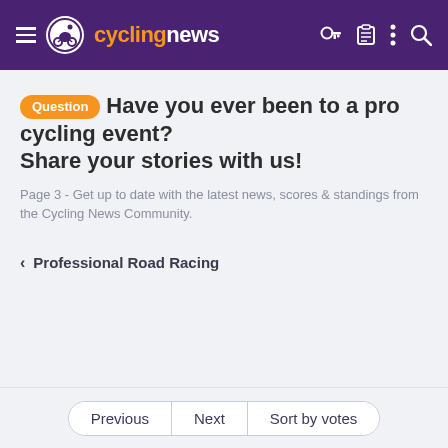cyclingnews
Question Have you ever been to a pro cycling event? Share your stories with us!
Page 3 - Get up to date with the latest news, scores & standings from the Cycling News Community.
< Professional Road Racing
Previous | Next | Sort by votes